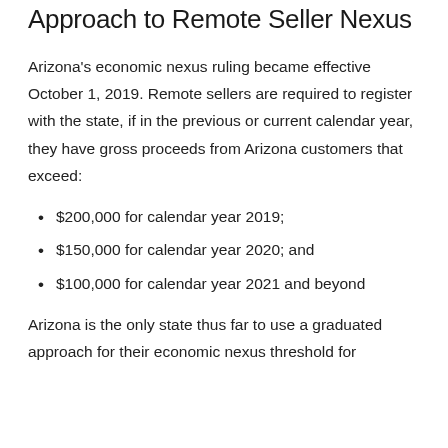Approach to Remote Seller Nexus
Arizona's economic nexus ruling became effective October 1, 2019. Remote sellers are required to register with the state, if in the previous or current calendar year, they have gross proceeds from Arizona customers that exceed:
$200,000 for calendar year 2019;
$150,000 for calendar year 2020; and
$100,000 for calendar year 2021 and beyond
Arizona is the only state thus far to use a graduated approach for their economic nexus threshold for